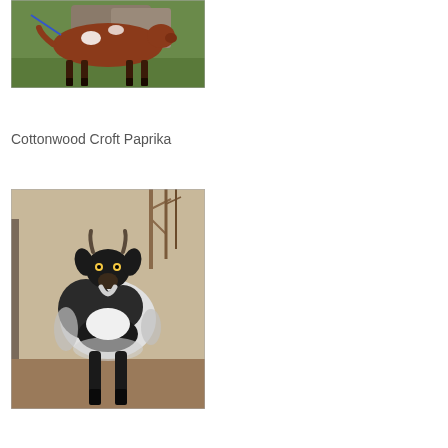[Figure (photo): Side view of a reddish-brown animal (appears to be a goat or small cattle) with white spots, standing on grass with a blue leash, rocky background]
Cottonwood Croft Paprika
[Figure (photo): Front-facing view of a black and white long-haired pygmy goat standing on dirt ground with bare trees in background]